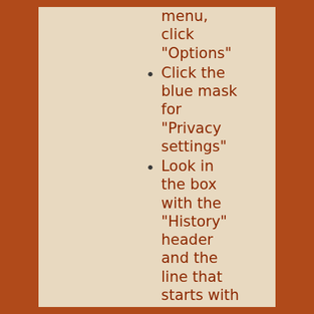menu, click "Options"
Click the blue mask for "Privacy settings"
Look in the box with the "History" header and the line that starts with "Firefox". If the rest of the line does NOT say "Use custom settings for history", click the drop down